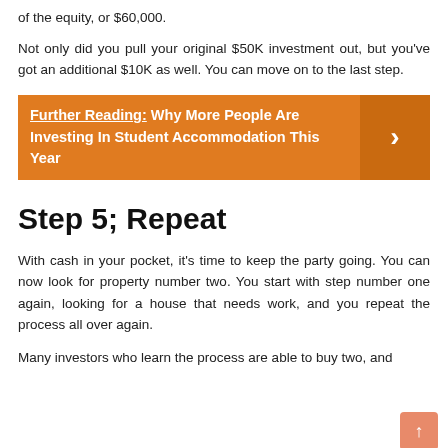of the equity, or $60,000.
Not only did you pull your original $50K investment out, but you've got an additional $10K as well. You can move on to the last step.
Further Reading:  Why More People Are Investing In Student Accommodation This Year
Step 5; Repeat
With cash in your pocket, it's time to keep the party going. You can now look for property number two. You start with step number one again, looking for a house that needs work, and you repeat the process all over again.
Many investors who learn the process are able to buy two, and